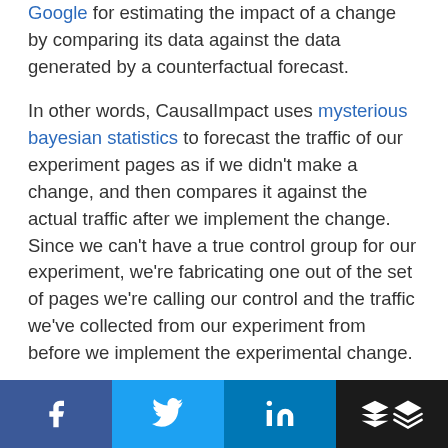Google for estimating the impact of a change by comparing its data against the data generated by a counterfactual forecast.

In other words, CausalImpact uses mysterious bayesian statistics to forecast the traffic of our experiment pages as if we didn't make a change, and then compares it against the actual traffic after we implement the change. Since we can't have a true control group for our experiment, we're fabricating one out of the set of pages we're calling our control and the traffic we've collected from our experiment from before we implement the experimental change.
[Figure (other): Social sharing bar with Facebook, Twitter, LinkedIn, and Buffer buttons]